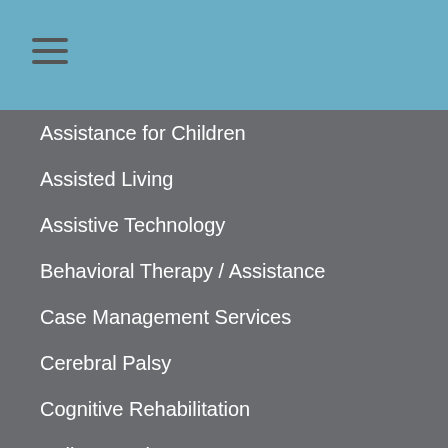Assistance for Children
Assisted Living
Assistive Technology
Behavioral Therapy / Assistance
Case Management Services
Cerebral Palsy
Cognitive Rehabilitation
College Assistance